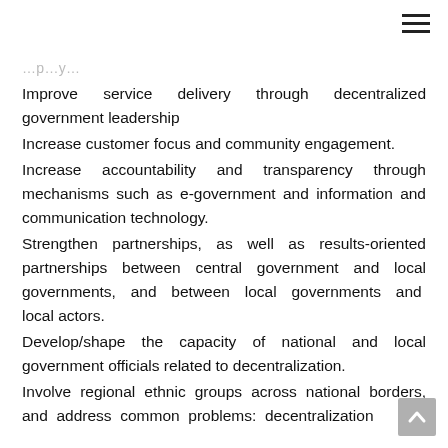≡
…p…y…
Improve service delivery through decentralized government leadership
Increase customer focus and community engagement.
Increase accountability and transparency through mechanisms such as e-government and information and communication technology.
Strengthen partnerships, as well as results-oriented partnerships between central government and local governments, and between local governments and local actors.
Develop/shape the capacity of national and local government officials related to decentralization.
Involve regional ethnic groups across national borders, and address common problems: decentralization